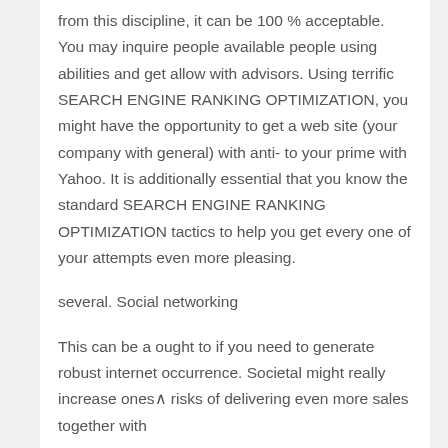from this discipline, it can be 100 % acceptable. You may inquire people available people using abilities and get allow with advisors. Using terrific SEARCH ENGINE RANKING OPTIMIZATION, you might have the opportunity to get a web site (your company with general) with anti- to your prime with Yahoo. It is additionally essential that you know the standard SEARCH ENGINE RANKING OPTIMIZATION tactics to help you get every one of your attempts even more pleasing.
several. Social networking
This can be a ought to if you need to generate robust internet occurrence. Societal might really increase ones risks of delivering even more sales together with